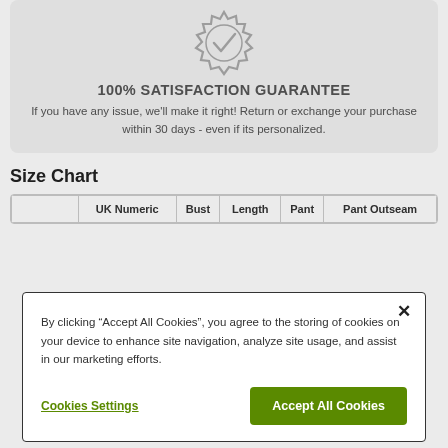[Figure (illustration): Circular badge/seal icon with a checkmark, rendered in gray outline style]
100% SATISFACTION GUARANTEE
If you have any issue, we'll make it right! Return or exchange your purchase within 30 days - even if its personalized.
Size Chart
|  | UK Numeric | Bust | Length | Pant | Pant Outseam |
| --- | --- | --- | --- | --- | --- |
By clicking “Accept All Cookies”, you agree to the storing of cookies on your device to enhance site navigation, analyze site usage, and assist in our marketing efforts.
Cookies Settings
Accept All Cookies